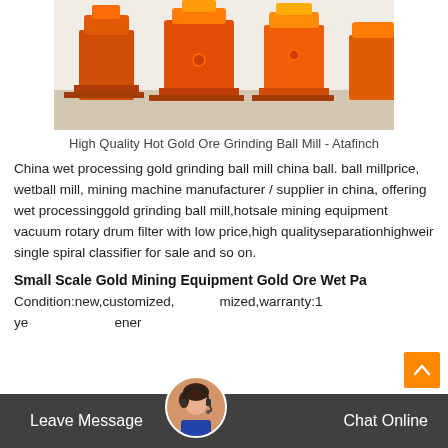[Figure (photo): Orange industrial gold ore grinding ball mill machines photographed in a warehouse/factory setting]
High Quality Hot Gold Ore Grinding Ball Mill - Atafinch
China wet processing gold grinding ball mill china ball. ball millprice, wetball mill, mining machine manufacturer / supplier in china, offering wet processinggold grinding ball mill,hotsale mining equipment vacuum rotary drum filter with low price,high qualityseparationhighweir single spiral classifier for sale and so on.
Small Scale Gold Mining Equipment Gold Ore Wet Pa
Condition:new,customized,warranty:1 ye
Leave Message   Chat Online